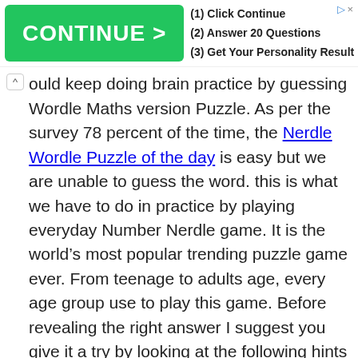[Figure (other): Advertisement banner with green CONTINUE > button and steps: (1) Click Continue, (2) Answer 20 Questions, (3) Get Your Personality Result, with close X button]
ould keep doing brain practice by guessing Wordle Maths version Puzzle. As per the survey 78 percent of the time, the Nerdle Wordle Puzzle of the day is easy but we are unable to guess the word. this is what we have to do in practice by playing everyday Number Nerdle game. It is the world’s most popular trending puzzle game ever. From teenage to adults age, every age group use to play this game. Before revealing the right answer I suggest you give it a try by looking at the following hints for today’s (06/09/2022) wordle challenge.
Also, check out: Today’s NY Times Wordle